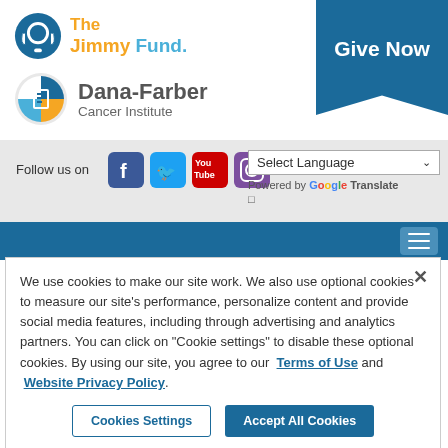[Figure (logo): The Jimmy Fund logo with orange and blue headphone-like icon and orange/blue text]
[Figure (logo): Give Now dark blue banner/ribbon in top right corner]
[Figure (logo): Dana-Farber Cancer Institute logo with blue/orange circular icon]
Follow us on
[Figure (infographic): Social media icons: Facebook, Twitter, YouTube, Instagram]
Select Language — Powered by Google Translate
[Figure (screenshot): Navigation bar with hamburger menu button]
We use cookies to make our site work. We also use optional cookies to measure our site's performance, personalize content and provide social media features, including through advertising and analytics partners. You can click on “Cookie settings” to disable these optional cookies. By using our site, you agree to our Terms of Use and Website Privacy Policy.
Cookies Settings
Accept All Cookies